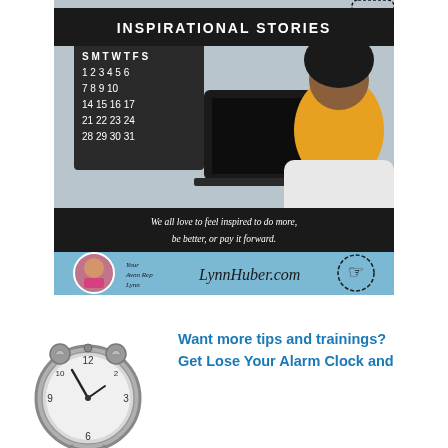[Figure (infographic): Inspirational Stories banner for LynnHuber.com: a Black woman in a yellow top sitting at a desk with a laptop and a calendar on the wall. Black header reads 'INSPIRATIONAL STORIES'. Dark footer text reads 'We all love to feel inspired to do more, be better, or pay it forward.' Blue bottom strip shows a circular profile photo of Lynn, handwritten text 'Your Avon Rep Lynn' and 'LynnHuber.com' with a hand/click icon.]
[Figure (photo): A silver vintage alarm clock in the lower-left area of the page.]
Want more tips and trainings?
Get Lose Your Alarm Clock and